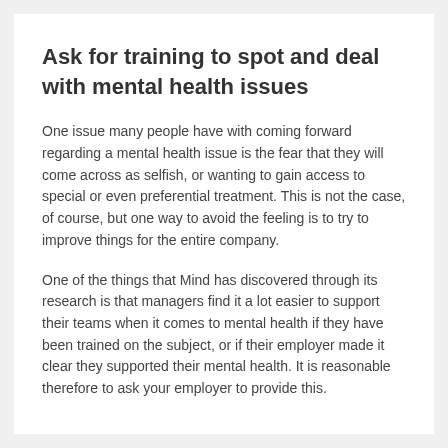Ask for training to spot and deal with mental health issues
One issue many people have with coming forward regarding a mental health issue is the fear that they will come across as selfish, or wanting to gain access to special or even preferential treatment. This is not the case, of course, but one way to avoid the feeling is to try to improve things for the entire company.
One of the things that Mind has discovered through its research is that managers find it a lot easier to support their teams when it comes to mental health if they have been trained on the subject, or if their employer made it clear they supported their mental health. It is reasonable therefore to ask your employer to provide this.